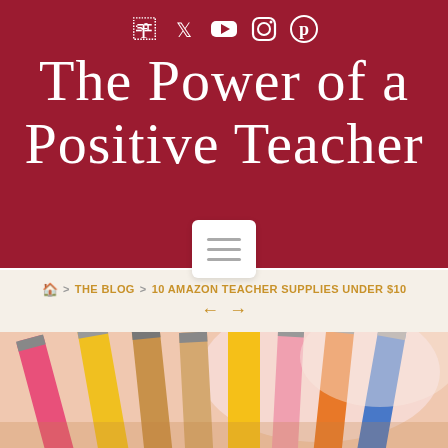Social media icons: Facebook, Twitter, YouTube, Instagram, Pinterest
The Power of a Positive Teacher
Menu button (hamburger icon)
🏠 > THE BLOG  > 10 AMAZON TEACHER SUPPLIES UNDER $10  ← →
[Figure (photo): Close-up photo of colorful sharpened pencils/colored pencils arranged diagonally, with vibrant pink, yellow, orange, brown, purple, and blue colors visible]